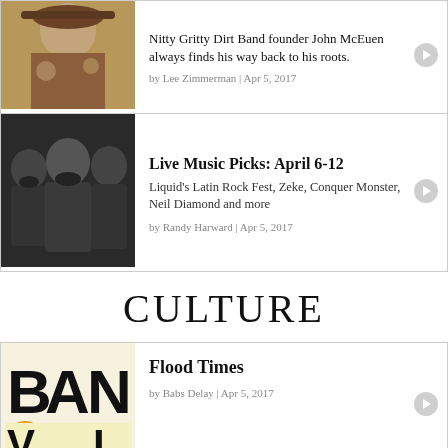[Figure (photo): Photo of a man with cowboy hat and decorative jacket]
Nitty Gritty Dirt Band founder John McEuen always finds his way back to his roots.
by Lee Zimmerman | Apr 5, 2017
[Figure (photo): Black and white photo of three men (band members)]
Live Music Picks: April 6-12
Liquid's Latin Rock Fest, Zeke, Conquer Monster, Neil Diamond and more
by Randy Harward | Apr 5, 2017
CULTURE
[Figure (logo): BANVI logo with yellow/gold circle accent]
Flood Times
by Babs Delay | Apr 5, 2017